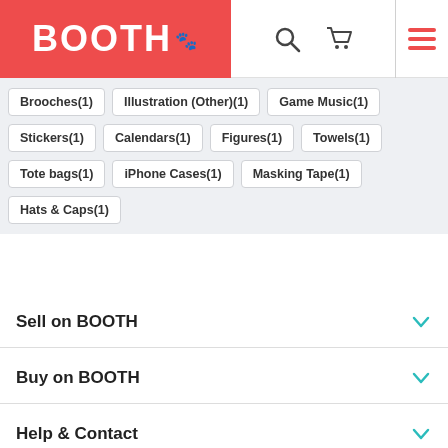[Figure (logo): BOOTH marketplace logo on red background]
Brooches(1)
Illustration (Other)(1)
Game Music(1)
Stickers(1)
Calendars(1)
Figures(1)
Towels(1)
Tote bags(1)
iPhone Cases(1)
Masking Tape(1)
Hats & Caps(1)
Sell on BOOTH
Buy on BOOTH
Help & Contact
Twitter
pixiv